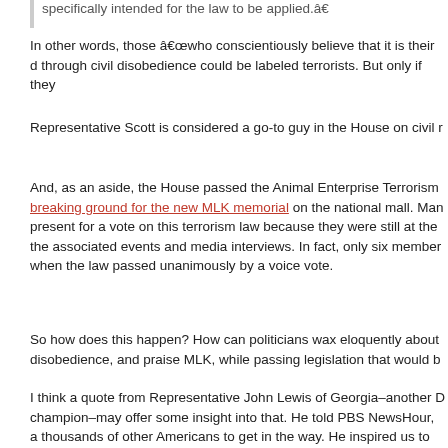specifically intended for the law to be applied.â€
In other words, those â€who conscientiously believe that it is their duty to challenge injustice through civil disobedience could be labeled terrorists. But only if they
Representative Scott is considered a go-to guy in the House on civil r
And, as an aside, the House passed the Animal Enterprise Terrorism Act while breaking ground for the new MLK memorial on the national mall. Many members weren’t present for a vote on this terrorism law because they were still at the ceremony and the associated events and media interviews. In fact, only six members were present when the law passed unanimously by a voice vote.
So how does this happen? How can politicians wax eloquently about civil disobedience, and praise MLK, while passing legislation that would b
I think a quote from Representative John Lewis of Georgia–another D champion–may offer some insight into that. He told PBS NewsHour, a thousands of other Americans to get in the way. He inspired us to get trouble; it was necessary trouble. And thatâ€™s why we honor Marti